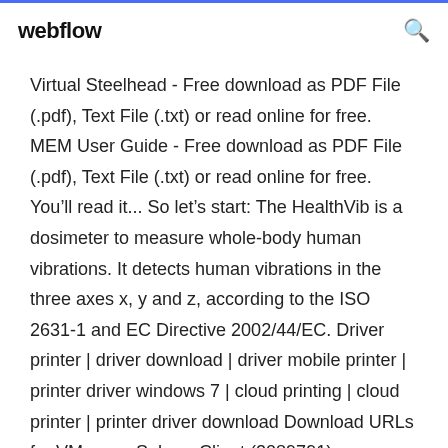webflow
Virtual Steelhead - Free download as PDF File (.pdf), Text File (.txt) or read online for free. MEM User Guide - Free download as PDF File (.pdf), Text File (.txt) or read online for free. You'll read it... So let's start: The HealthVib is a dosimeter to measure whole-body human vibrations. It detects human vibrations in the three axes x, y and z, according to the ISO 2631-1 and EC Directive 2002/44/EC. Driver printer | driver download | driver mobile printer | printer driver windows 7 | cloud printing | cloud printer | printer driver download Download URLs for VMware vSphere Client (2089791) -